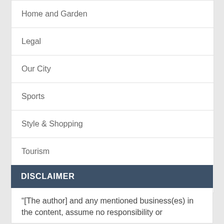Home and Garden
Legal
Our City
Sports
Style & Shopping
Tourism
Uncategorized
DISCLAIMER
“[The author] and any mentioned business(es) in the content, assume no responsibility or